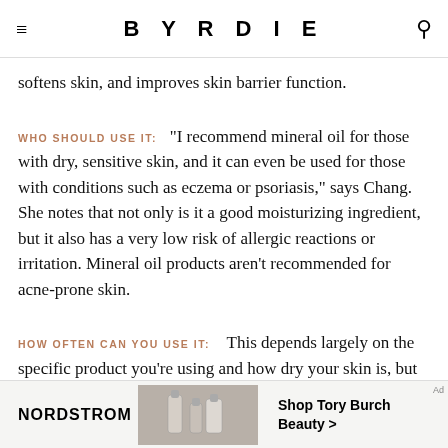BYRDIE
softens skin, and improves skin barrier function.
WHO SHOULD USE IT:  "I recommend mineral oil for those with dry, sensitive skin, and it can even be used for those with conditions such as eczema or psoriasis," says Chang. She notes that not only is it a good moisturizing ingredient, but it also has a very low risk of allergic reactions or irritation. Mineral oil products aren't recommended for acne-prone skin.
HOW OFTEN CAN YOU USE IT:   This depends largely on the specific product you're using and how dry your skin is, but generally speaking, it's
[Figure (other): Nordstrom advertisement banner: Shop Tory Burch Beauty >]